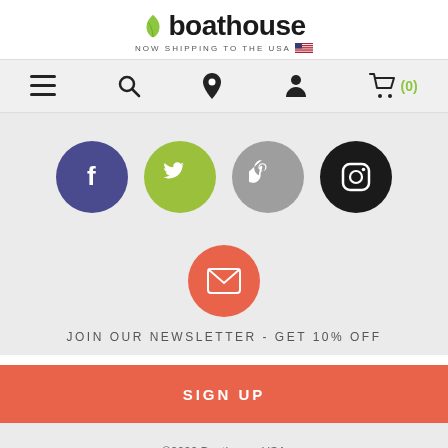[Figure (logo): Boathouse logo with green leaf icon, text 'boathouse', subtitle 'NOW SHIPPING TO THE USA' with US flag]
[Figure (infographic): Navigation bar with hamburger menu, search, location pin, user account, and shopping cart (0) icons]
[Figure (infographic): Four social media circular buttons: Facebook (purple), Twitter (green), Pinterest (gray), Instagram (black)]
[Figure (infographic): Orange circular email/newsletter button]
JOIN OUR NEWSLETTER - GET 10% OFF
SIGN UP
©2022 Boathouse USA